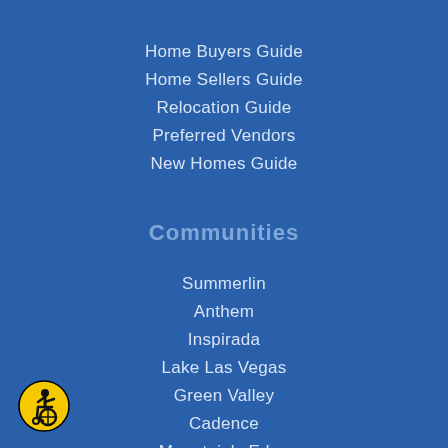Home Buyers Guide
Home Sellers Guide
Relocation Guide
Preferred Vendors
New Homes Guide
Communities
Summerlin
Anthem
Inspirada
Lake Las Vegas
Green Valley
Cadence
Mountain's Edge
Southern Highlands
Skye Canyon
[Figure (logo): Wheelchair accessibility icon — yellow circle with black wheelchair user symbol]